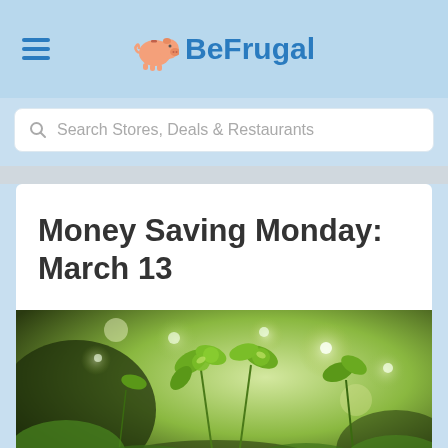BeFrugal
Search Stores, Deals & Restaurants
Money Saving Monday: March 13
[Figure (photo): Close-up photo of green plants/clover leaves with shallow depth of field and soft bokeh background]